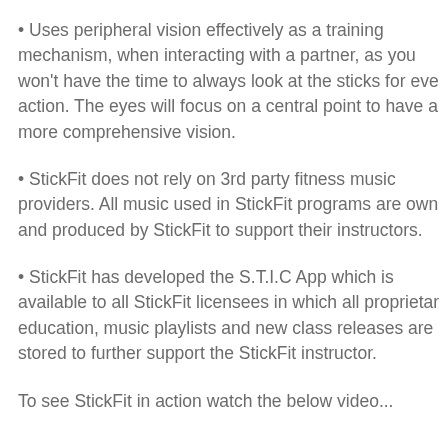Uses peripheral vision effectively as a training mechanism, when interacting with a partner, as you won't have the time to always look at the sticks for every action. The eyes will focus on a central point to have a more comprehensive vision.
StickFit does not rely on 3rd party fitness music providers. All music used in StickFit programs are owned and produced by StickFit to support their instructors.
StickFit has developed the S.T.I.C App which is available to all StickFit licensees in which all proprietary education, music playlists and new class releases are stored to further support the StickFit instructor.
To see StickFit in action watch the below video...